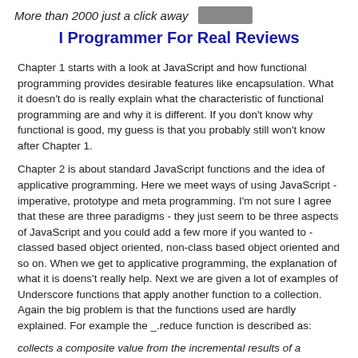More than 2000 just a click away [image]
I Programmer For Real Reviews
Chapter 1 starts with a look at JavaScript and how functional programming provides desirable features like encapsulation. What it doesn't do is really explain what the characteristic of functional programming are and why it is different. If you don't know why functional is good, my guess is that you probably still won't know after Chapter 1.
Chapter 2 is about standard JavaScript functions and the idea of applicative programming. Here we meet ways of using JavaScript - imperative, prototype and meta programming. I'm not sure I agree that these are three paradigms - they just seem to be three aspects of JavaScript and you could add a few more if you wanted to - classed based object oriented, non-class based object oriented and so on. When we get to applicative programming, the explanation of what it is doens't really help. Next we are given a lot of examples of Underscore functions that apply another function to a collection. Again the big problem is that the functions used are hardly explained. For example the _.reduce function is described as:
collects a composite value from the incremental results of a function